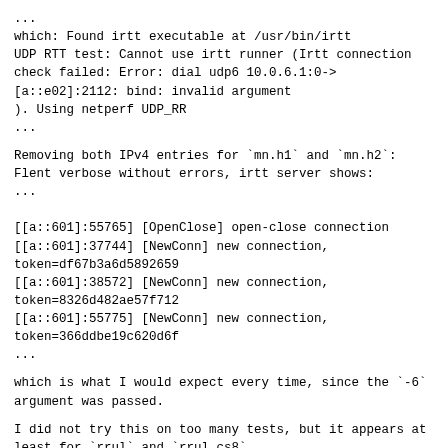...
which: Found irtt executable at /usr/bin/irtt
UDP RTT test: Cannot use irtt runner (Irtt connection
check failed: Error: dial udp6 10.0.6.1:0->
[a::e02]:2112: bind: invalid argument
). Using netperf UDP_RR
...
Removing both IPv4 entries for `mn.h1` and `mn.h2`:
Flent verbose without errors, irtt server shows:
...
[[a::601]:55765] [OpenClose] open-close connection
[[a::601]:37744] [NewConn] new connection,
token=df67b3a6d5892659
[[a::601]:38572] [NewConn] new connection,
token=8326d482ae57f712
[[a::601]:55775] [NewConn] new connection,
token=366ddbe19c620d6f
...
which is what I would expect every time, since the `-6`
argument was passed.
I did not try this on too many tests, but it appears at
least for `rrul` and `rrul_cs8`
--
You are receiving this because you are subscribed to
this thread.